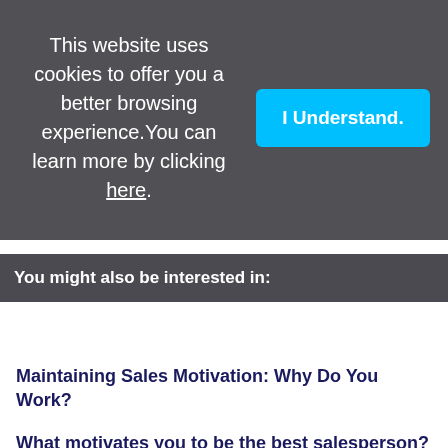This website uses cookies to offer you a better browsing experience. You can learn more by clicking here.
I Understand.
You might also be interested in:
Maintaining Sales Motivation: Why Do You Work?
What motivates you to be the best salesperson?
The Power of Mindset